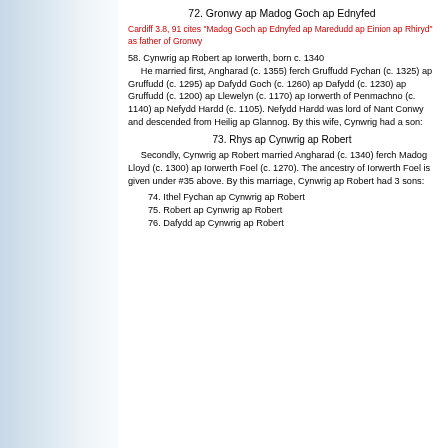72.  Gronwy ap Madog Goch ap Ednyfed
Cardiff 3.8, 91 cites "Madog Goch ap Ednyfed ap Maredudd ap Einion ap Rhiryd" as father of Gronwy
58.  Cynwrig ap Robert ap Iorwerth, born c. 1340
     He married first, Angharad (c. 1355) ferch Gruffudd Fychan (c. 1325) ap Gruffudd (c. 1295) ap Dafydd Goch (c. 1260) ap Dafydd (c. 1230) ap Gruffudd (c. 1200) ap Llewelyn (c. 1170) ap Iorwerth of Penmachno (c. 1140) ap Nefydd Hardd (c. 1105).  Nefydd Hardd was lord of Nant Conwy and descended from Heilig ap Glannog. By this wife, Cynwrig had a son:
73.  Rhys ap Cynwrig ap Robert
Secondly, Cynwrig ap Robert married Angharad (c. 1340) ferch Madog Lloyd (c. 1300) ap Iorwerth Foel (c. 1270).  The ancestry of Iorwerth Foel is given under #35 above.  By this marriage, Cynwrig ap Robert had 3 sons:
74.  Ithel Fychan ap Cynwrig ap Robert
75.  Robert ap Cynwrig ap Robert
76.  Dafydd ap Cynwrig ap Robert